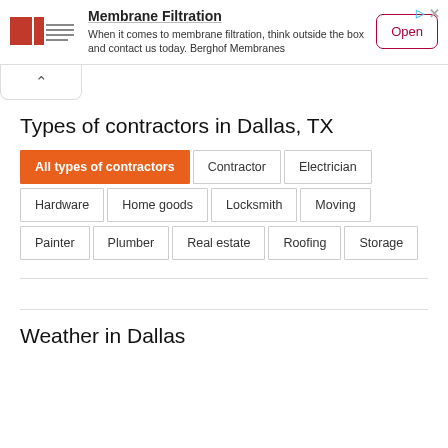[Figure (logo): Advertisement banner: Berghof Membranes logo on left, 'Membrane Filtration' headline, ad body text, and 'Open' button on right]
Types of contractors in Dallas, TX
All types of contractors
Contractor
Electrician
Hardware
Home goods
Locksmith
Moving
Painter
Plumber
Real estate
Roofing
Storage
Weather in Dallas